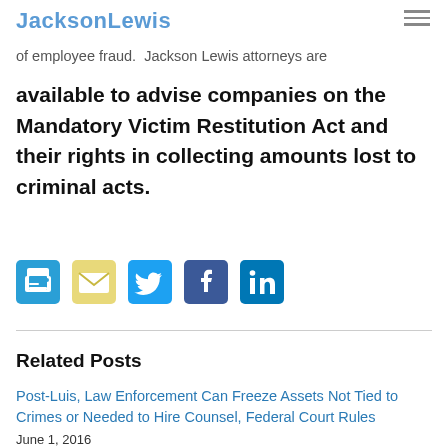JacksonLewis
evaluate compensation plans periodically to help ensure the full value of restitution orders in the event of employee fraud. Jackson Lewis attorneys are available to advise companies on the Mandatory Victim Restitution Act and their rights in collecting amounts lost to criminal acts.
[Figure (other): Social sharing icons: print, email, Twitter, Facebook, LinkedIn]
Related Posts
Post-Luis, Law Enforcement Can Freeze Assets Not Tied to Crimes or Needed to Hire Counsel, Federal Court Rules
June 1, 2016